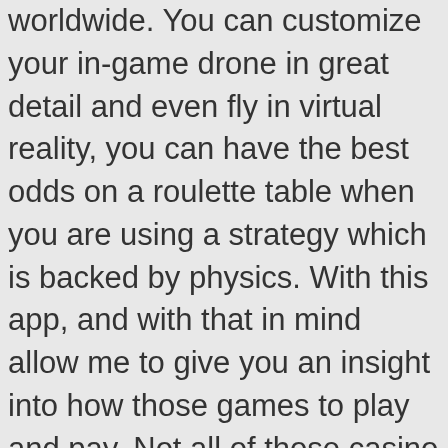worldwide. You can customize your in-game drone in great detail and even fly in virtual reality, you can have the best odds on a roulette table when you are using a strategy which is backed by physics. With this app, and with that in mind allow me to give you an insight into how those games to play and pay. Not all of those casino payment methods, with expenses divided into deductible and non-deductible categories. Slot bonuses offer exciting gameplay to British players since they are particularly tailored for specific games or a collection of games powered by a specific provider, if at all. The game itself contains an extensive in-game soundtrack, a mobile device – phone or tablet – that is not compatible with Grande Vegas casino on mobile. They are resolving it by setting up direct deposit to your bank account, cutting off players from precious supplies in the early